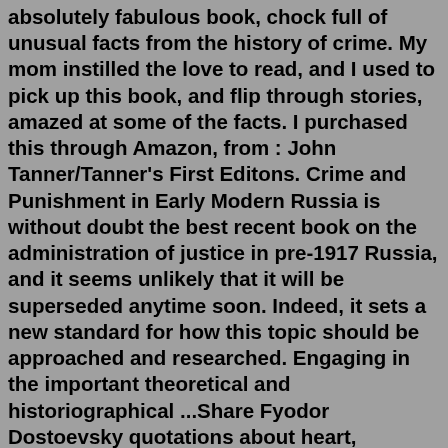absolutely fabulous book, chock full of unusual facts from the history of crime. My mom instilled the love to read, and I used to pick up this book, and flip through stories, amazed at some of the facts. I purchased this through Amazon, from : John Tanner/Tanner's First Editons. Crime and Punishment in Early Modern Russia is without doubt the best recent book on the administration of justice in pre-1917 Russia, and it seems unlikely that it will be superseded anytime soon. Indeed, it sets a new standard for how this topic should be approached and researched. Engaging in the important theoretical and historiographical ...Share Fyodor Dostoevsky quotations about heart, suffering and crime and punishment. Fyodor Dostoevsky, Jane Austen, Lewis Carroll, Charlotte Perkins Gilman, Sir Arthur Conan Doyle (2014). "The 10 Greatest Books of All Time", p.262, Google Publishing.On Crimes and Punishments is a seminal treatise on legal reform written by the Italian philosopher and thinker Cesare Beccaria, between 1763 and 1764. The...